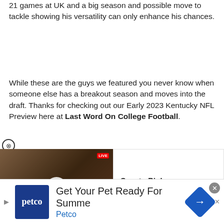21 games at UK and a big season and possible move to tackle showing his versatility can only enhance his chances.
While these are the guys we featured you never know when someone else has a breakout season and moves into the draft. Thanks for checking out our Early 2023 Kentucky NFL Preview here at Last Word On College Football.
[Figure (screenshot): Video player widget showing a man in a baseball cap in a locker room, with a play button overlay and a 'Sports Picks' text box to the right. A close button (X in circle) appears above the video.]
[Figure (screenshot): Petco advertisement banner at bottom: Petco logo (blue square), headline 'Get Your Pet Ready For Summe', subtext 'Petco', navigation arrows, and a close button.]